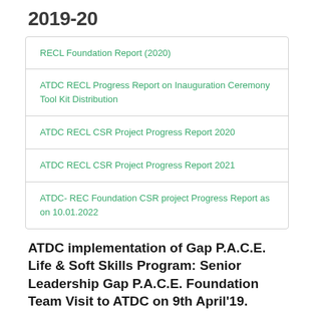2019-20
| RECL Foundation Report (2020) |
| ATDC RECL Progress Report on Inauguration Ceremony Tool Kit Distribution |
| ATDC RECL CSR Project Progress Report 2020 |
| ATDC RECL CSR Project Progress Report 2021 |
| ATDC- REC Foundation CSR project Progress Report as on 10.01.2022 |
ATDC implementation of Gap P.A.C.E. Life & Soft Skills Program: Senior Leadership Gap P.A.C.E. Foundation Team Visit to ATDC on 9th April'19.